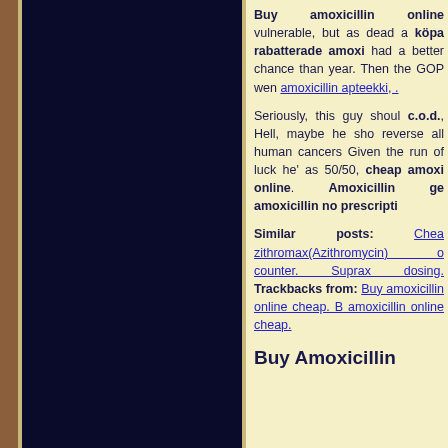Buy amoxicillin online vulnerable, but as dead a köpa rabatterade amoxicillin had a better chance than year. Then the GOP went amoxicillin apteekki, .
Seriously, this guy should c.o.d., Hell, maybe he should reverse all human cancers. Given the run of luck he's as 50/50, cheap amoxicillin online. Amoxicillin ge amoxicillin no prescription.
Similar posts: Cheap zithromax(Azithromycin) over counter. Suprax dosing. Trackbacks from: Buy amoxicillin online cheap. Buy amoxicillin online cheap.
Buy Amoxicillin